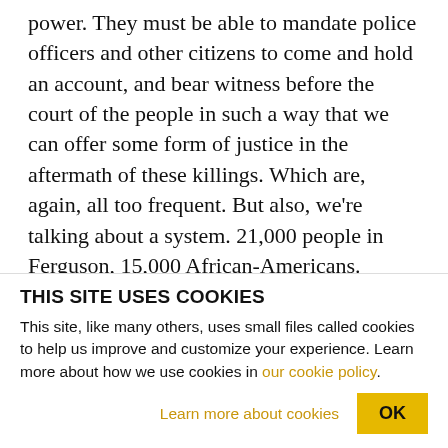power. They must be able to mandate police officers and other citizens to come and hold an account, and bear witness before the court of the people in such a way that we can offer some form of justice in the aftermath of these killings. Which are, again, all too frequent. But also, we're talking about a system. 21,000 people in Ferguson, 15,000 African-Americans. 10,000 of them got arrest warrants. 23,000 tickets issued. Combined with the high level of transfer of militarized weapons to our local municipalities such as Ferguson, and that this city [text cut off]
THIS SITE USES COOKIES
This site, like many others, uses small files called cookies to help us improve and customize your experience. Learn more about how we use cookies in our cookie policy.